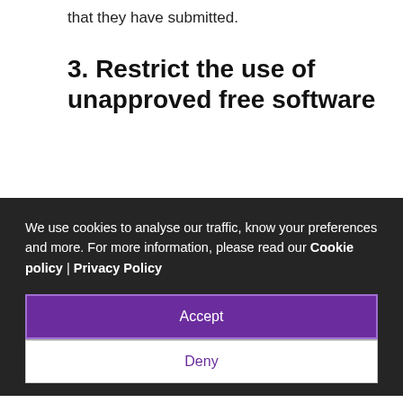that they have submitted.
3. Restrict the use of unapproved free software
We use cookies to analyse our traffic, know your preferences and more. For more information, please read our Cookie policy | Privacy Policy
Accept
Deny
awareness training for employees would also be helpful.